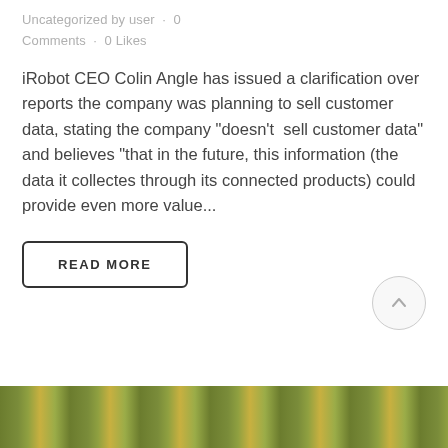Uncategorized by user · 0 Comments · 0 Likes
iRobot CEO Colin Angle has issued a clarification over reports the company was planning to sell customer data, stating the company "doesn't  sell customer data" and believes "that in the future, this information (the data it collectes through its connected products) could provide even more value...
READ MORE
[Figure (photo): Bottom strip showing a colorful outdoor/nature scene, partially visible at the bottom of the page.]